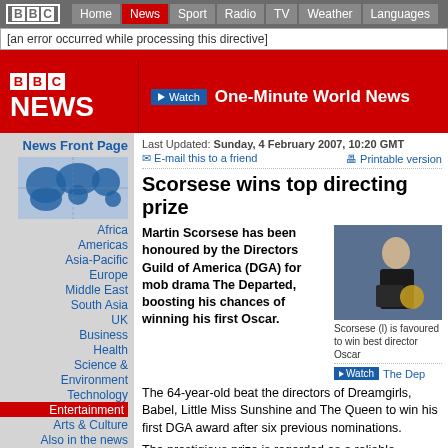BBC | Home | News | Sport | Radio | TV | Weather | Languages
[an error occurred while processing this directive]
[Figure (logo): BBC NEWS logo with red background]
Watch One-Minute World News
Last Updated: Sunday, 4 February 2007, 10:20 GMT
E-mail this to a friend   Printable version
Scorsese wins top directing prize
Martin Scorsese has been honoured by the Directors Guild of America (DGA) for mob drama The Departed, boosting his chances of winning his first Oscar.
[Figure (photo): Martin Scorsese holding award at DGA ceremony]
Scorsese (l) is favoured to win best director Oscar
Watch The Dep
The 64-year-old beat the directors of Dreamgirls, Babel, Little Miss Sunshine and The Queen to win his first DGA award after six previous nominations.
The prestigious prize is regarded as a reliable indicator as to who will go on to land the best directing Oscar.
News Front Page
Africa
Americas
Asia-Pacific
Europe
Middle East
South Asia
UK
Business
Health
Science & Environment
Technology
Entertainment
Arts & Culture
Also in the news